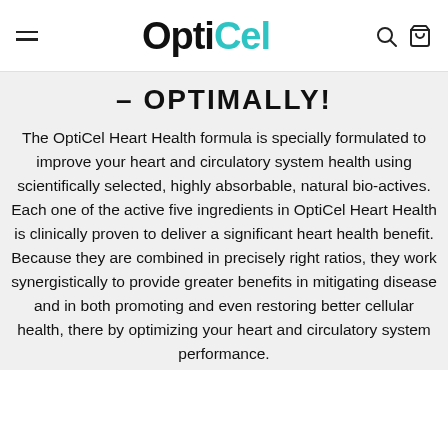OptiCel
– OPTIMALLY!
The OptiCel Heart Health formula is specially formulated to improve your heart and circulatory system health using scientifically selected, highly absorbable, natural bio-actives. Each one of the active five ingredients in OptiCel Heart Health is clinically proven to deliver a significant heart health benefit. Because they are combined in precisely right ratios, they work synergistically to provide greater benefits in mitigating disease and in both promoting and even restoring better cellular health, there by optimizing your heart and circulatory system performance.